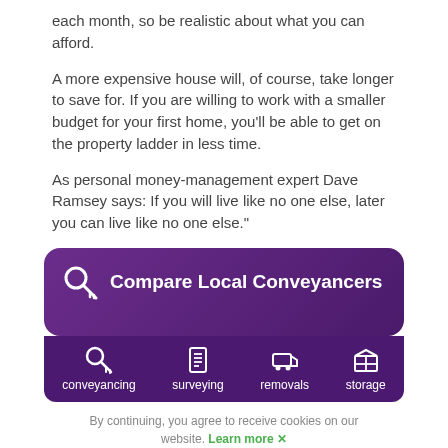each month, so be realistic about what you can afford.
A more expensive house will, of course, take longer to save for. If you are willing to work with a smaller budget for your first home, you'll be able to get on the property ladder in less time.
As personal money-management expert Dave Ramsey says: If you will live like no one else, later you can live like no one else."
[Figure (infographic): Purple rounded box with key icon and text 'Compare Local Conveyancers', with a dark purple navigation bar below showing icons and labels for conveyancing, surveying, removals, and storage.]
By continuing, you agree to receive cookies on our website. Learn more ✕